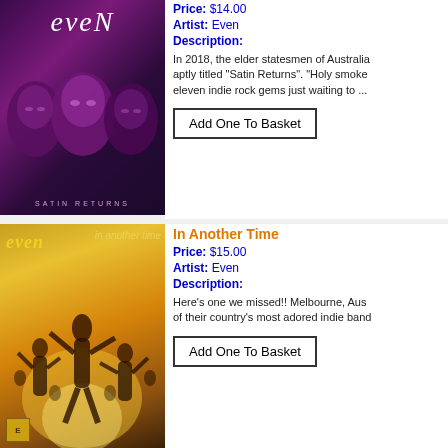[Figure (photo): Album cover for 'Satin Returns' by Even — dark purple/magenta background with three band members' faces]
Price: $14.00
Artist: Even
Description:
In 2018, the elder statesmen of Australia... aptly titled "Satin Returns". "Holy smokes... eleven indie rock gems just waiting to ...
Add One To Basket
[Figure (photo): Album cover for 'In Another Time' by Even — golden warm tones with dancing figures]
In Another Time
Price: $15.00
Artist: Even
Description:
Here's one we missed!!  Melbourne, Aus... of their country's most adored indie band...
Add One To Basket